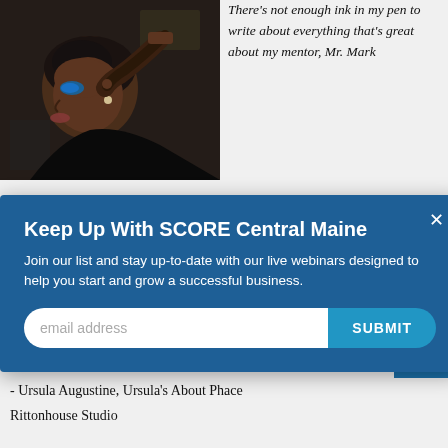[Figure (photo): A woman having makeup applied to her eye, photographed in profile against a dark background. She has short natural hair and is wearing a black top.]
There's not enough ink in my pen to write about everything that's great about my mentor, Mr. Mark
at
es he
artup
ap >
Keep Up With SCORE Central Maine
Join our list and stay up-to-date with our live webinars designed to help you start and grow a successful business.
- Ursula Augustine, Ursula's About Phace Rittonhouse Studio